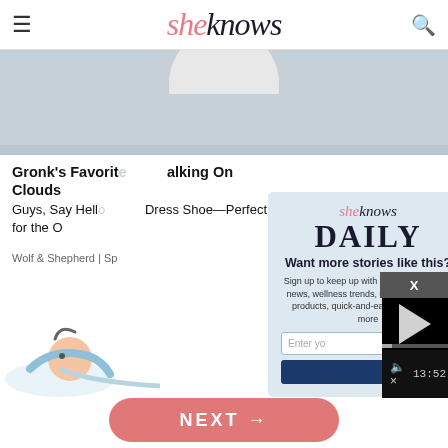sheknows
[Figure (photo): Cropped product photo on gray background, showing what appears to be the bottom of a white bowl or shoe on a gray textured surface]
Gronk's Favorite ... alking On Clouds
Guys, Say Hello ... Dress Shoe—Perfect for the O...
Wolf & Shepherd | Sp...
[Figure (infographic): SheKnows Daily newsletter modal popup. Contains SheKnows logo, DAILY headline, 'Want more stories like this?' heading, description text about signing up for celebrity news, wellness trends, #mom hacks, cult products, quick-and-easy recipes, and more. Includes email input field and subscribe button. X close button in top right.]
[Figure (screenshot): Embedded video player with black background, play button triangle, progress bar, and video controls showing 13:52 timestamp, CC button, grid view, settings gear, and fullscreen expand button. X close button in top right corner.]
[Figure (illustration): Partial illustration at bottom left showing a person lying down with blue hair/headband]
NEXT →